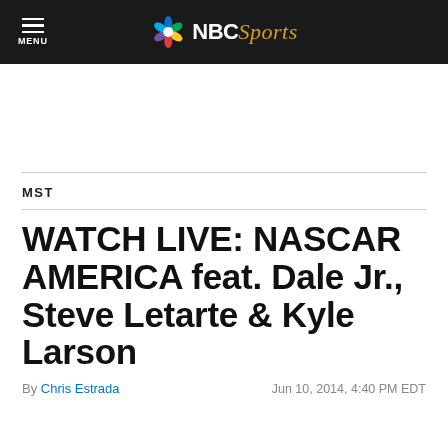NBC Sports — MENU
MST
WATCH LIVE: NASCAR AMERICA feat. Dale Jr., Steve Letarte & Kyle Larson
By Chris Estrada   Jun 10, 2014, 4:40 PM EDT